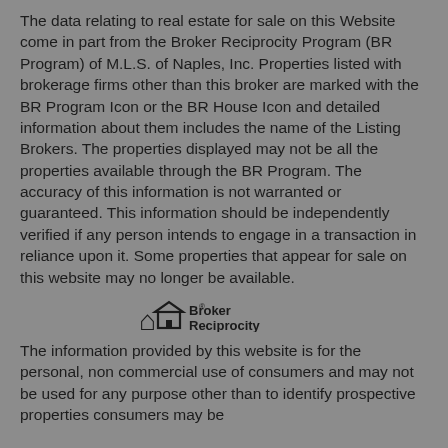The data relating to real estate for sale on this Website come in part from the Broker Reciprocity Program (BR Program) of M.L.S. of Naples, Inc. Properties listed with brokerage firms other than this broker are marked with the BR Program Icon or the BR House Icon and detailed information about them includes the name of the Listing Brokers. The properties displayed may not be all the properties available through the BR Program. The accuracy of this information is not warranted or guaranteed. This information should be independently verified if any person intends to engage in a transaction in reliance upon it. Some properties that appear for sale on this website may no longer be available.
[Figure (logo): Broker Reciprocity logo with house icon and bold text]
The information provided by this website is for the personal, non commercial use of consumers and may not be used for any purpose other than to identify prospective properties consumers may be